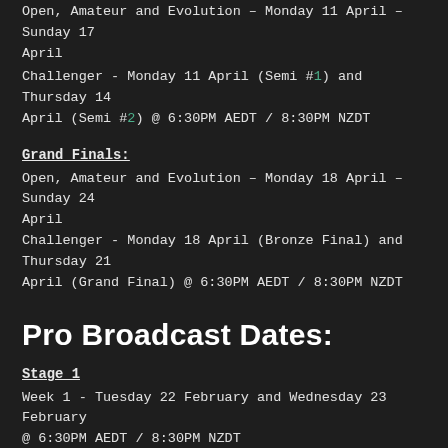Open, Amateur and Evolution – Monday 11 April – Sunday 17 April
Challenger - Monday 11 April (Semi #1) and Thursday 14 April (Semi #2) @ 6:30PM AEDT / 8:30PM NZDT
Grand Finals:
Open, Amateur and Evolution – Monday 18 April – Sunday 24 April
Challenger - Monday 18 April (Bronze Final) and Thursday 21 April (Grand Final) @ 6:30PM AEDT / 8:30PM NZDT
Pro Broadcast Dates:
Stage 1
Week 1 - Tuesday 22 February and Wednesday 23 February @ 6:30PM AEDT / 8:30PM NZDT